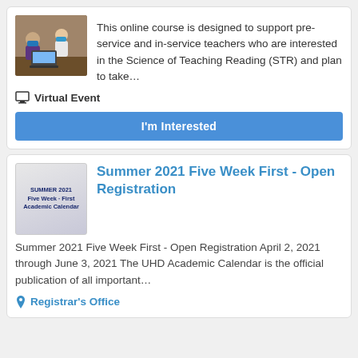[Figure (photo): Students sitting on floor with laptops, wearing masks]
This online course is designed to support pre-service and in-service teachers who are interested in the Science of Teaching Reading (STR) and plan to take...
Virtual Event
I'm Interested
[Figure (illustration): Summer 2021 Five Week First Academic Calendar booklet cover]
Summer 2021 Five Week First - Open Registration
Summer 2021 Five Week First - Open Registration April 2, 2021 through June 3, 2021 The UHD Academic Calendar is the official publication of all important...
Registrar's Office